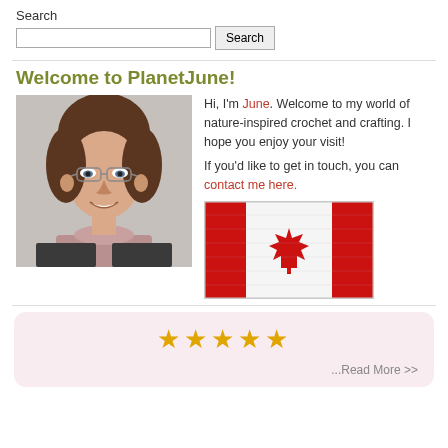Search
Search (input and button)
Welcome to PlanetJune!
[Figure (photo): Portrait photo of a woman with short brown hair, glasses, and a pink/mauve crochet scarf, smiling at the camera]
Hi, I'm June. Welcome to my world of nature-inspired crochet and crafting. I hope you enjoy your visit!
If you'd like to get in touch, you can contact me here.
[Figure (photo): Crocheted Canadian flag showing red and white stripes with a red maple leaf in the center]
★★★★★
...Read More >>